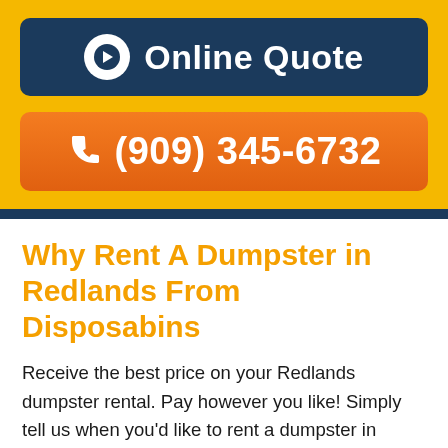[Figure (other): Online Quote button with arrow circle icon on dark navy background]
[Figure (other): Phone number button (909) 345-6732 with phone icon on orange background]
Why Rent A Dumpster in Redlands From Disposabins
Receive the best price on your Redlands dumpster rental. Pay however you like! Simply tell us when you'd like to rent a dumpster in Redlands, CA and we'll be there. Quick and simple roll off dumpster rental process! Our skilled drivers strive to protect your property. Extra clean Redlands roll off dumpsters